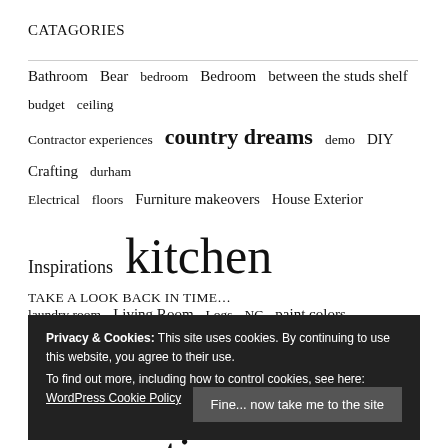CATAGORIES
Bathroom  Bear  bedroom  Bedroom  between the studs shelf  budget  ceiling  Contractor experiences  country dreams  demo  DIY Crafting  durham  Electrical  floors  Furniture makeovers  House Exterior  Inspirations  kitchen  laundry room  Living Room  Logs  NC  paint colors  Products  Projects  Projects that did not work out  renovations  thoughts  Thrift store finds  Yard
TAKE A LOOK BACK IN TIME…
Privacy & Cookies: This site uses cookies. By continuing to use this website, you agree to their use.
To find out more, including how to control cookies, see here: WordPress Cookie Policy
Fine... now take me to the site